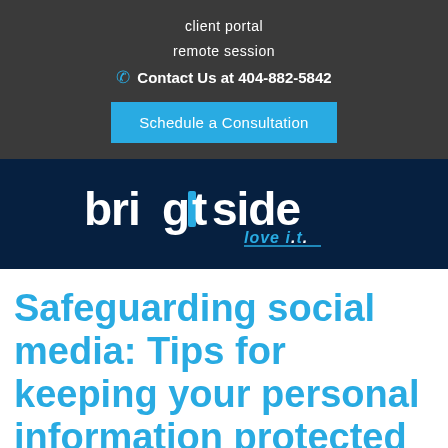client portal
remote session
Contact Us at 404-882-5842
Schedule a Consultation
[Figure (logo): Brightside IT logo with text 'brightside love i.t.' on dark navy background]
Safeguarding social media: Tips for keeping your personal information protected